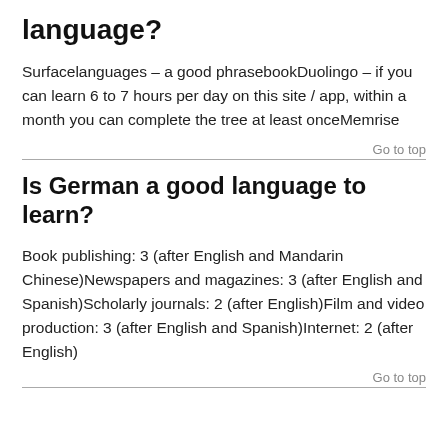language?
Surfacelanguages – a good phrasebookDuolingo – if you can learn 6 to 7 hours per day on this site / app, within a month you can complete the tree at least onceMemrise
Go to top
Is German a good language to learn?
Book publishing: 3 (after English and Mandarin Chinese)Newspapers and magazines: 3 (after English and Spanish)Scholarly journals: 2 (after English)Film and video production: 3 (after English and Spanish)Internet: 2 (after English)
Go to top